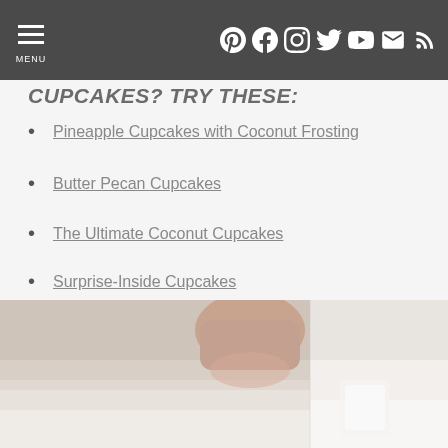MENU [navigation with social icons: Pinterest, Facebook, Instagram, Twitter, YouTube, Email, RSS]
CUPCAKES? TRY THESE:
Pineapple Cupcakes with Coconut Frosting
Butter Pecan Cupcakes
The Ultimate Coconut Cupcakes
Surprise-Inside Cupcakes
Lucky Charms Cupcakes
Red Velvet Cupcakes
[Figure (photo): Photo of a hand/finger touching or pressing something on a white surface, partially visible at the bottom of the page]